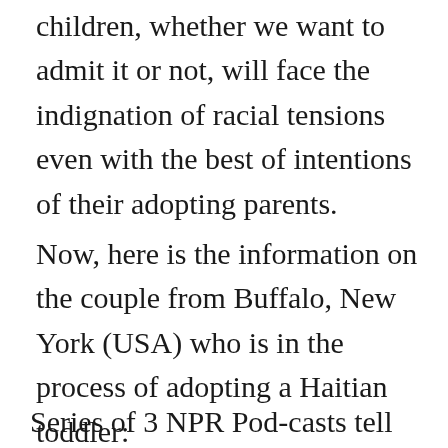children, whether we want to admit it or not, will face the indignation of racial tensions even with the best of intentions of their adopting parents.
Now, here is the information on the couple from Buffalo, New York (USA) who is in the process of adopting a Haitian toddler:
Series of 3 NPR Pod-casts tell their story: